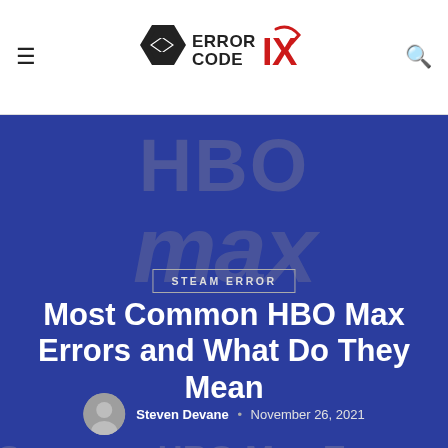[Figure (logo): Error Code IX website logo with hexagon arrow icon and red X mark]
STEAM ERROR
Most Common HBO Max Errors and What Do They Mean
Steven Devane • November 26, 2021
[Figure (illustration): HBO Max branded hero image with dark blue background and faded HBO max watermark text]